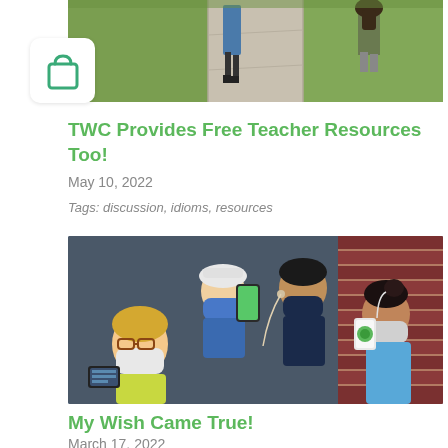[Figure (photo): Outdoor scene on a sidewalk with children walking, grass on both sides, viewed from behind]
[Figure (illustration): Shopping bag icon in teal/green outline inside a white rounded square box]
TWC Provides Free Teacher Resources Too!
May 10, 2022
Tags: discussion, idioms, resources
[Figure (photo): Group of elementary school children wearing face masks and holding small electronic devices and smartphones outdoors near a brick wall]
My Wish Came True!
March 17, 2022